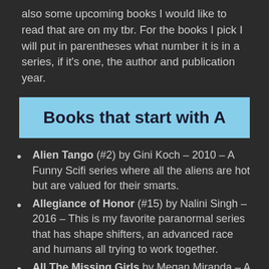also some upcoming books I would like to read that are on my tbr. For the books I pick I will put in parentheses what number it is in a series, if it's one, the author and publication year.
Books that start with A
Alien Tango (#2) by Gini Koch – 2010 – A Funny Scifi series where all the aliens are hot but are valued for their smarts.
Allegiance of Honor (#15) by Nalini Singh – 2016 – This is my favorite paranormal series that has shape shifters, an advanced race and humans all trying to work together.
All The Missing Girls by Megan Miranda – A mystery where a woman comes home and is swept